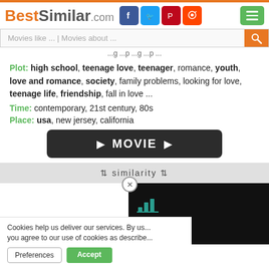BestSimilar.com
Movies like ... | Movies about ...
Plot: high school, teenage love, teenager, romance, youth, love and romance, society, family problems, looking for love, teenage life, friendship, fall in love ...
Time: contemporary, 21st century, 80s
Place: usa, new jersey, california
[Figure (other): Dark rounded rectangle button with play arrow icons and MOVIE text]
⇅ similarity ⇅
[Figure (screenshot): Black video player panel with teal chart icon]
Cookies help us deliver our services. By us... you agree to our use of cookies as describe...
Preferences | Accept